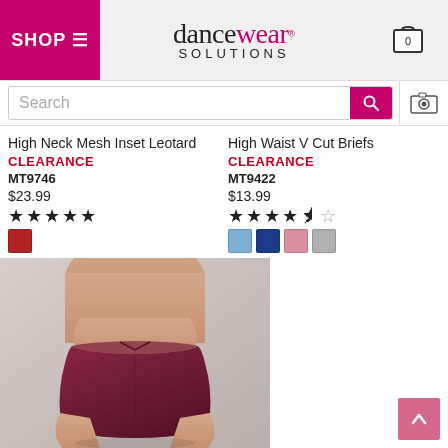SHOP ≡ | dancewear SOLUTIONS | 0
Search
High Neck Mesh Inset Leotard
CLEARANCE
MT9746
$23.99
★★★★★
High Waist V Cut Briefs
CLEARANCE
MT9422
$13.99
★★★★½
[Figure (photo): Product photo of High Waist V Cut Briefs in dark berry/maroon color on a model]
Color swatches: light blue, navy, pink, gray